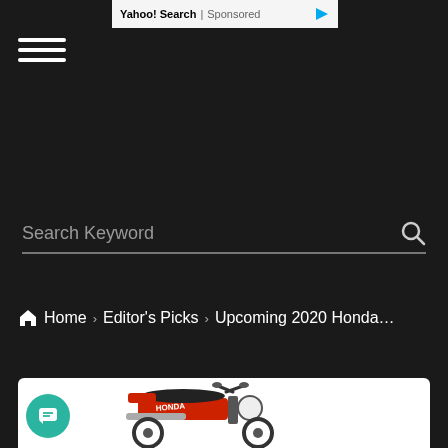Yahoo! Search | Sponsored
[Figure (screenshot): Hamburger menu icon (three horizontal lines) in white on dark background]
[Figure (screenshot): Search bar with placeholder 'Search Keyword' and magnifying glass icon]
Home > Editor's Picks > Upcoming 2020 Honda...
[Figure (photo): Red Honda CT125 / Trail motorcycle on white background, side view showing handlebars, seat, headlight, and exhaust]